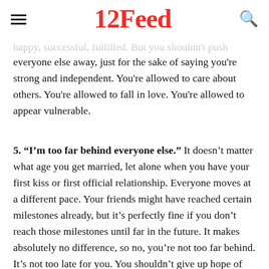12Feed
happy, successful, fulfilled. But you shouldn't push everyone else away, just for the sake of saying you're strong and independent. You're allowed to care about others. You're allowed to fall in love. You're allowed to appear vulnerable.
5. “I’m too far behind everyone else.” It doesn’t matter what age you get married, let alone when you have your first kiss or first official relationship. Everyone moves at a different pace. Your friends might have reached certain milestones already, but it’s perfectly fine if you don’t reach those milestones until far in the future. It makes absolutely no difference, so no, you’re not too far behind. It’s not too late for you. You shouldn’t give up hope of finding love.